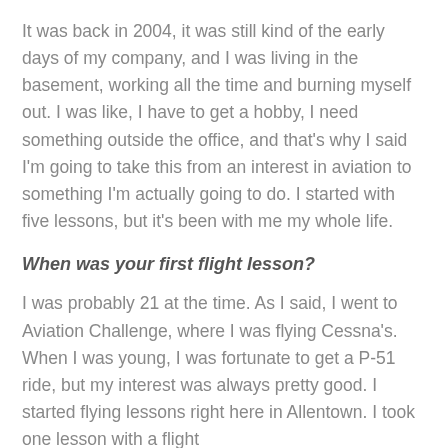It was back in 2004, it was still kind of the early days of my company, and I was living in the basement, working all the time and burning myself out. I was like, I have to get a hobby, I need something outside the office, and that's why I said I'm going to take this from an interest in aviation to something I'm actually going to do. I started with five lessons, but it's been with me my whole life.
When was your first flight lesson?
I was probably 21 at the time. As I said, I went to Aviation Challenge, where I was flying Cessna's. When I was young, I was fortunate to get a P-51 ride, but my interest was always pretty good. I started flying lessons right here in Allentown. I took one lesson with a flight